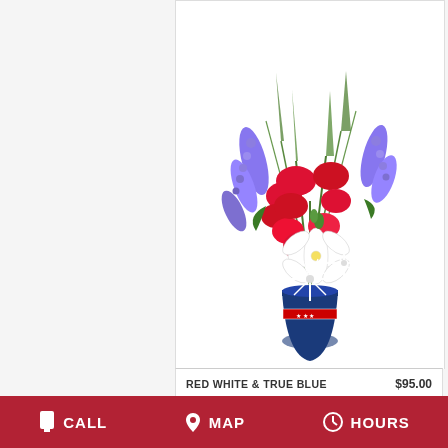[Figure (photo): Flower arrangement: Red White & True Blue bouquet in a blue patriotic vase with red gladioli, white lilies, purple flowers]
RED WHITE & TRUE BLUE   $95.00
BUY NOW
[Figure (photo): Partial view of a second flower arrangement at bottom of page]
CALL   MAP   HOURS